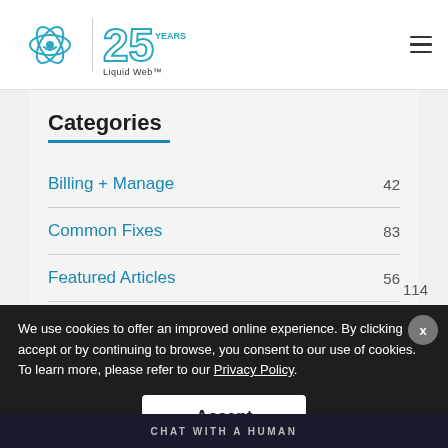[Figure (logo): Liquid Web logo with atom icon and '25 YEARS' badge in teal/blue]
Categories
Billing + Manage  42
Common Fixes  83
Featured Articles  56
114
Products  35
Security Bulletins
We use cookies to offer an improved online experience. By clicking accept or by continuing to browse, you consent to our use of cookies. To learn more, please refer to our Privacy Policy.
Accept
CHAT WITH A HUMAN